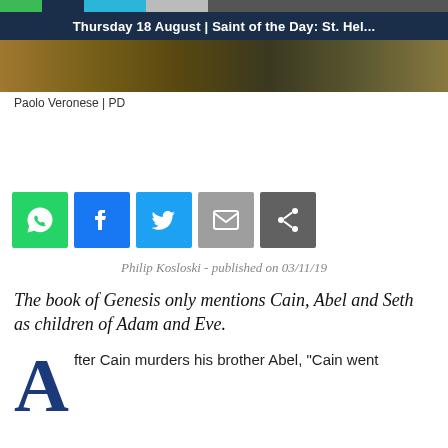Thursday 18 August | Saint of the Day: St. Hel...
[Figure (photo): Painting detail, dark tones, appears to be a classical painting]
Paolo Veronese | PD
[Figure (other): Social sharing buttons: WhatsApp, Facebook, Twitter, Email, Share]
Philip Kosloski - published on 03/11/19
The book of Genesis only mentions Cain, Abel and Seth as children of Adam and Eve.
After Cain murders his brother Abel, "Cain went